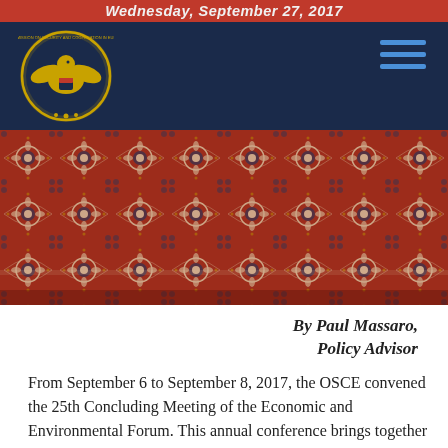Wednesday, September 27, 2017
[Figure (photo): Decorative Persian/Oriental rug with intricate floral and medallion patterns in red, blue, cream and dark tones]
By Paul Massaro, Policy Advisor
From September 6 to September 8, 2017, the OSCE convened the 25th Concluding Meeting of the Economic and Environmental Forum. This annual conference brings together participating States for a wide-ranging discussion on policy as relates to the Second Dimension of the OSCE, or economic and environmental issues. The theme of the